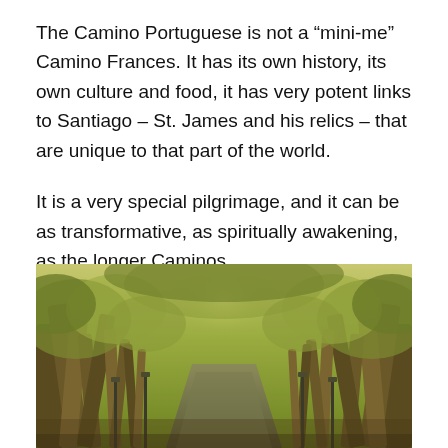The Camino Portuguese is not a “mini-me” Camino Frances. It has its own history, its own culture and food, it has very potent links to Santiago – St. James and his relics – that are unique to that part of the world.
It is a very special pilgrimage, and it can be as transformative, as spiritually awakening, as the longer Caminos.
[Figure (photo): A forest path lined with large ancient gnarled trees forming a natural tunnel, with yellow-green foliage overhead and lamp posts visible along the sides.]